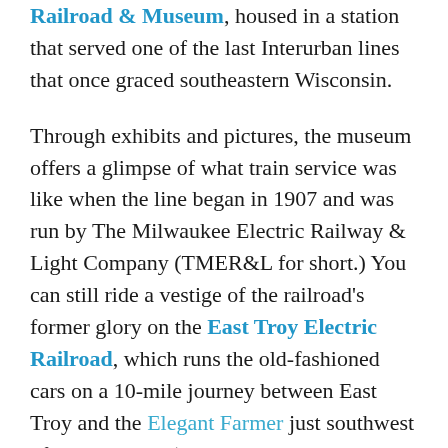Railroad & Museum, housed in a station that served one of the last Interurban lines that once graced southeastern Wisconsin.
Through exhibits and pictures, the museum offers a glimpse of what train service was like when the line began in 1907 and was run by The Milwaukee Electric Railway & Light Company (TMER&L for short.) You can still ride a vestige of the railroad's former glory on the East Troy Electric Railroad, which runs the old-fashioned cars on a 10-mile journey between East Troy and the Elegant Farmer just southwest of Mukwonago (yes, the place that bakes apple pies in a brown bag). Service runs from May through October and gives you a nice flavor of what the Interurbans were like back when the Milwaukee area was served with hundreds of miles of train lines that reached to East Troy, Watertown and Sheboygan. The museum is on Church Street between downtown East